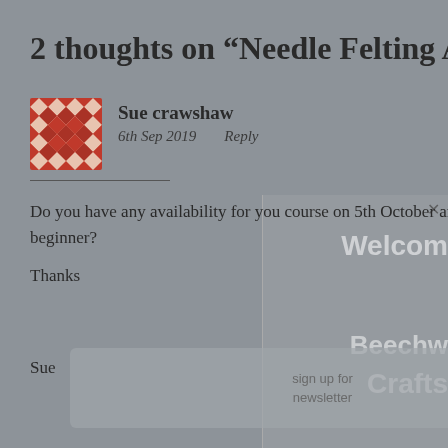2 thoughts on “Needle Felting Animals”
Sue crawshaw
6th Sep 2019   Reply
Do you have any availability for you course on 5th October and is it suitable for a beginner?
Thanks
Sue